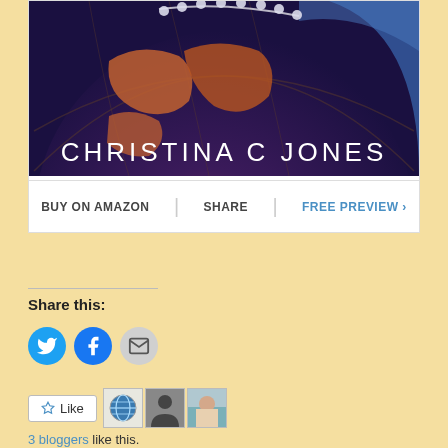[Figure (illustration): Book cover showing a stylized globe with a basketball texture, dots along an arc at top, continents visible in orange, and blue on right side. Author name CHRISTINA C JONES in white text at bottom.]
BUY ON AMAZON | SHARE | FREE PREVIEW >
Share this:
[Figure (infographic): Three social share icons: Twitter (blue bird), Facebook (blue f), Email (grey envelope)]
[Figure (infographic): Like button with star icon and two blogger avatar thumbnails]
3 bloggers like this.